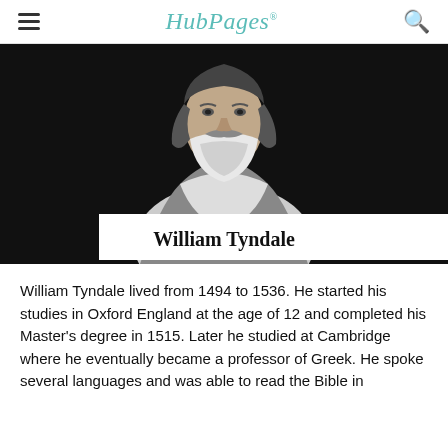HubPages
[Figure (photo): Black and white engraving/portrait of William Tyndale, an older bearded man wearing robes, with hands clasped, against a black background. A white overlay box at the bottom reads 'William Tyndale'.]
William Tyndale
William Tyndale lived from 1494 to 1536. He started his studies in Oxford England at the age of 12 and completed his Master's degree in 1515. Later he studied at Cambridge where he eventually became a professor of Greek. He spoke several languages and was able to read the Bible in